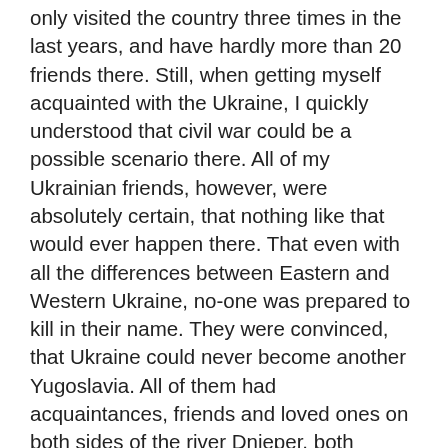only visited the country three times in the last years, and have hardly more than 20 friends there. Still, when getting myself acquainted with the Ukraine, I quickly understood that civil war could be a possible scenario there. All of my Ukrainian friends, however, were absolutely certain, that nothing like that would ever happen there. That even with all the differences between Eastern and Western Ukraine, no-one was prepared to kill in their name. They were convinced, that Ukraine could never become another Yugoslavia. All of them had acquaintances, friends and loved ones on both sides of the river Dnieper, both Ukrainian and Russian speakers. But if you only ever take into consideration your own friends, you will fall into the trap of scaling, obstructing those mechanisms which create hatred on a large scale.
War does not require personal hatred between people, geopolitical and economical reasons are good enough for that. And in the Ukraine, the geopolitical interests are far greater than in Yugoslavia. If you have an interest in